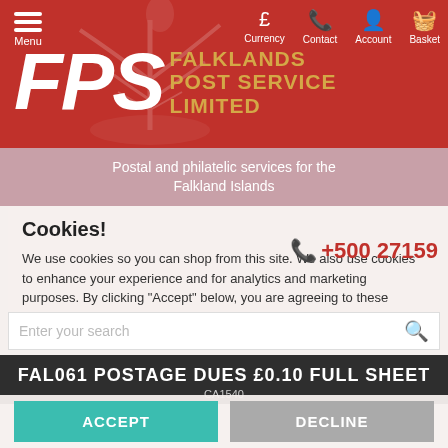[Figure (screenshot): Falklands Post Service Limited website header with red background, FPS logo in white italic letters, FALKLANDS POST SERVICE LIMITED in gold text, navigation icons (Currency, Contact, Account, Basket), and Menu icon]
Postal and philatelic services for the Falkland Islands
Cookies!
+500 27159
We use cookies so you can shop from this site. We also use cookies to enhance your experience and for analytics and marketing purposes. By clicking "Accept" below, you are agreeing to these cookies. To find out more about our cookies please click
Enter your search
> Falkland Islands > Postage dues
> FAL061 Postage Dues £0.10 Full sheet
FAL061 POSTAGE DUES £0.10 FULL SHEET
CA1540